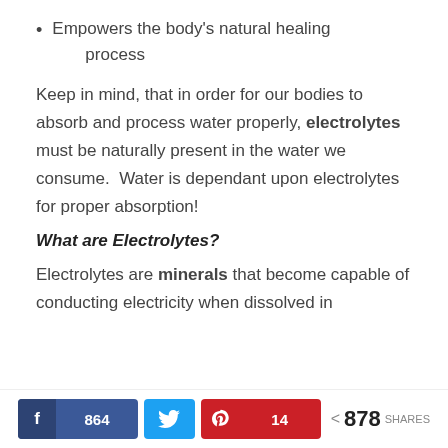Empowers the body's natural healing process
Keep in mind, that in order for our bodies to absorb and process water properly, electrolytes must be naturally present in the water we consume. Water is dependant upon electrolytes for proper absorption!
What are Electrolytes?
Electrolytes are minerals that become capable of conducting electricity when dissolved in
f 864  [twitter bird]  ® 14  < 878 SHARES